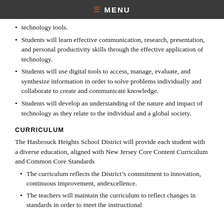≡ MENU
technology tools.
Students will learn effective communication, research, presentation, and personal productivity skills through the effective application of technology.
Students will use digital tools to access, manage, evaluate, and synthesize information in order to solve problems individually and collaborate to create and communicate knowledge.
Students will develop an understanding of the nature and impact of technology as they relate to the individual and a global society.
CURRICULUM
The Hasbrouck Heights School District will provide each student with a diverse education, aligned with New Jersey Core Content Curriculum and Common Core Standards
The curriculum reflects the District's commitment to innovation, continuous improvement, andexcellence.
The teachers will maintain the curriculum to reflect changes in standards in order to meet the instructional